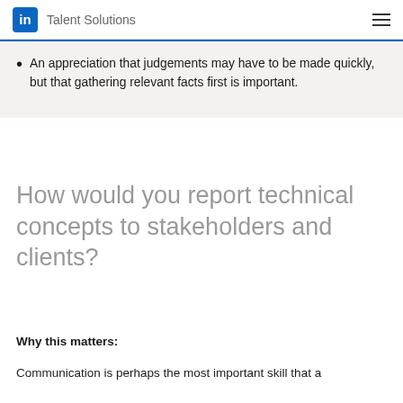in Talent Solutions
An appreciation that judgements may have to be made quickly, but that gathering relevant facts first is important.
How would you report technical concepts to stakeholders and clients?
Why this matters:
Communication is perhaps the most important skill that a